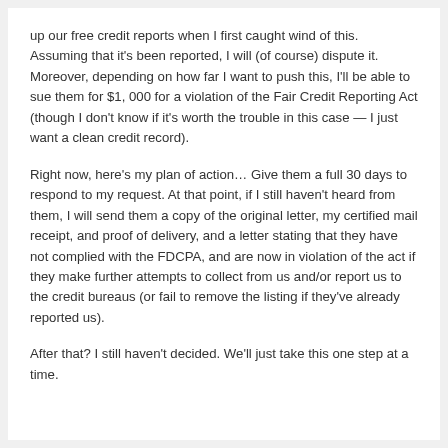up our free credit reports when I first caught wind of this. Assuming that it's been reported, I will (of course) dispute it. Moreover, depending on how far I want to push this, I'll be able to sue them for $1, 000 for a violation of the Fair Credit Reporting Act (though I don't know if it's worth the trouble in this case — I just want a clean credit record).
Right now, here's my plan of action… Give them a full 30 days to respond to my request. At that point, if I still haven't heard from them, I will send them a copy of the original letter, my certified mail receipt, and proof of delivery, and a letter stating that they have not complied with the FDCPA, and are now in violation of the act if they make further attempts to collect from us and/or report us to the credit bureaus (or fail to remove the listing if they've already reported us).
After that? I still haven't decided. We'll just take this one step at a time.